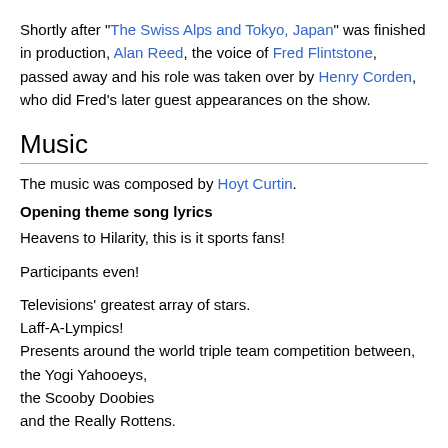Shortly after "The Swiss Alps and Tokyo, Japan" was finished in production, Alan Reed, the voice of Fred Flintstone, passed away and his role was taken over by Henry Corden, who did Fred's later guest appearances on the show.
Music
The music was composed by Hoyt Curtin.
Opening theme song lyrics
Heavens to Hilarity, this is it sports fans!

Participants even!

Televisions' greatest array of stars.
Laff-A-Lympics!
Presents around the world triple team competition between,
the Yogi Yahooeys,
the Scooby Doobies
and the Really Rottens.

The players are on the field, and the stadium even, so let's get on with it.
Laff-A-Lympics!